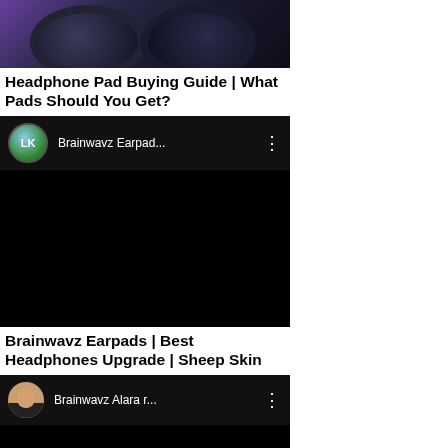[Figure (photo): Close-up photo of headphones with purple/blue lighting on dark background]
Headphone Pad Buying Guide | What Pads Should You Get?
[Figure (screenshot): YouTube video thumbnail/player showing Brainwavz Earpad... channel with LK avatar logo]
Brainwavz Earpads | Best Headphones Upgrade | Sheep Skin
[Figure (screenshot): YouTube video thumbnail/player showing Brainwavz Alara r... channel with man's face avatar]